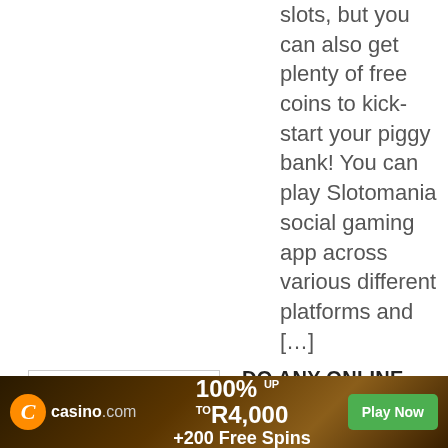slots, but you can also get plenty of free coins to kick-start your piggy bank! You can play Slotomania social gaming app across various different platforms and […]
[Figure (logo): PayPal logo: blue P symbol in circle with PayPal wordmark in blue italic bold text]
DO ANY ONLINE CASINOS ACCEPT PAYPAL IN SOUTH AFRICA?
South African players have many choices of games to pick in every South African casino with PayPal. It is hard to imagine that the country with so long history can take the lead in the development and advancement of the
[Figure (other): Casino.com advertisement banner: orange Casino.com logo on dark brown/gold background, 100% up to R4,000 +200 Free Spins, green Play Now button]